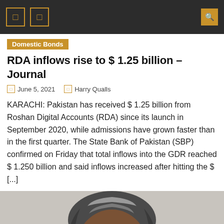Navigation bar with icons and search
Domestic Bonds
RDA inflows rise to $ 1.25 billion – Journal
June 5, 2021   Harry Qualls
KARACHI: Pakistan has received $ 1.25 billion from Roshan Digital Accounts (RDA) since its launch in September 2020, while admissions have grown faster than in the first quarter. The State Bank of Pakistan (SBP) confirmed on Friday that total inflows into the GDR reached $ 1.250 billion and said inflows increased after hitting the $ [...]
[Figure (photo): Portrait photo of a woman with grey-streaked hair and glasses]